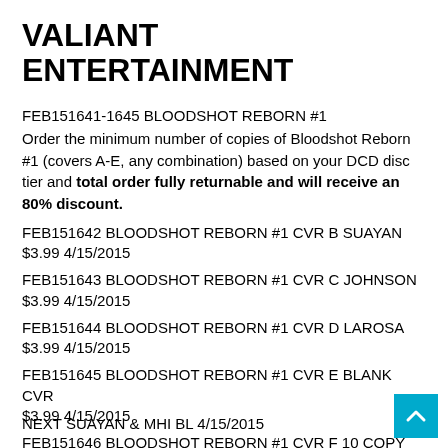VALIANT ENTERTAINMENT
FEB151641-1645 BLOODSHOT REBORN #1
Order the minimum number of copies of Bloodshot Reborn #1 (covers A-E, any combination) based on your DCD disc tier and total order fully returnable and will receive an 80% discount.
FEB151642 BLOODSHOT REBORN #1 CVR B SUAYAN
$3.99 4/15/2015
FEB151643 BLOODSHOT REBORN #1 CVR C JOHNSON
$3.99 4/15/2015
FEB151644 BLOODSHOT REBORN #1 CVR D LAROSA
$3.99 4/15/2015
FEB151645 BLOODSHOT REBORN #1 CVR E BLANK CVR
$3.99 4/15/2015
FEB151646 BLOODSHOT REBORN #1 CVR F 10 COPY
NEXT SUAYAN & MHI BL 4/15/2015